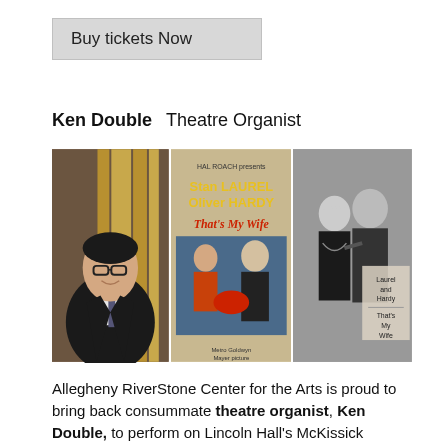Buy tickets Now
Ken Double   Theatre Organist
[Figure (photo): Three images: left - portrait of Ken Double smiling in a suit beside a theatre organ; center - movie poster for Stan Laurel & Oliver Hardy 'That's My Wife'; right - black and white photo of two people dancing with 'Laurel and Hardy That's My Wife' text overlay]
Allegheny RiverStone Center for the Arts is proud to bring back consummate theatre organist, Ken Double, to perform on Lincoln Hall's McKissick